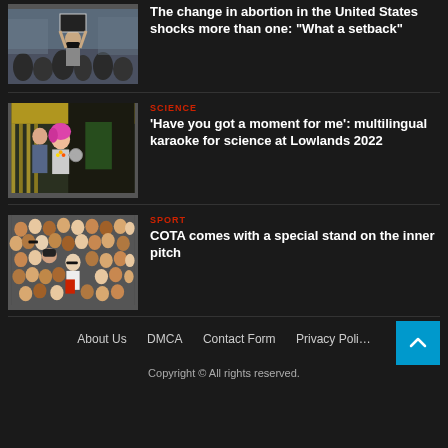[Figure (photo): Person in black mask holding sign at protest rally]
The change in abortion in the United States shocks more than one: “What a setback”
[Figure (photo): Person with colorful hair at festival holding objects]
SCIENCE
‘Have you got a moment for me’: multilingual karaoke for science at Lowlands 2022
[Figure (photo): Large crowd of people at sporting event]
SPORT
COTA comes with a special stand on the inner pitch
About Us   DMCA   Contact Form   Privacy Poli…
Copyright © All rights reserved.